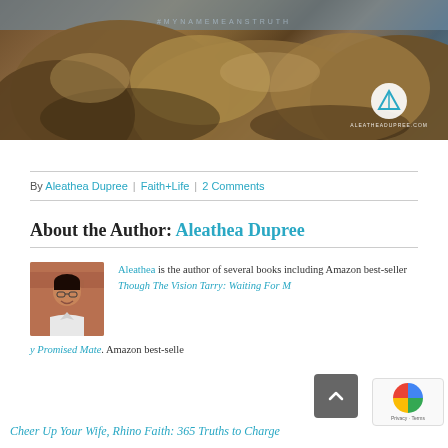[Figure (photo): Rocky coastal beach scene with large boulders, ocean water visible in background. Hashtag #MYNAMEMEANSTRUTH overlaid in white text. Website logo circle and ALEATHEADUPREE.COM text in bottom right corner.]
By Aleathea Dupree | Faith+Life | 2 Comments
About the Author: Aleathea Dupree
[Figure (photo): Author headshot of Aleathea Dupree, a Black woman with short hair wearing glasses and a white top, smiling in front of a brick wall background.]
Aleathea is the author of several books including Amazon best-seller Though The Vision Tarry: Waiting For My Promised Mate. Amazon best-seller Cheer Up Your Wife, Rhino Faith: 365 Truths to Charge